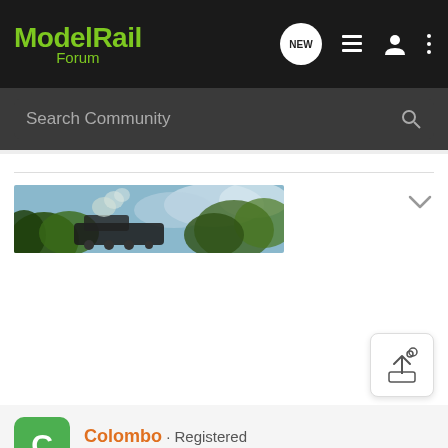ModelRail Forum
Search Community
[Figure (photo): A steam locomotive partially visible with green foliage and blue sky background, appearing as a forum banner image.]
Colombo · Registered
Joined Oct 21, 2005 · 303 Posts